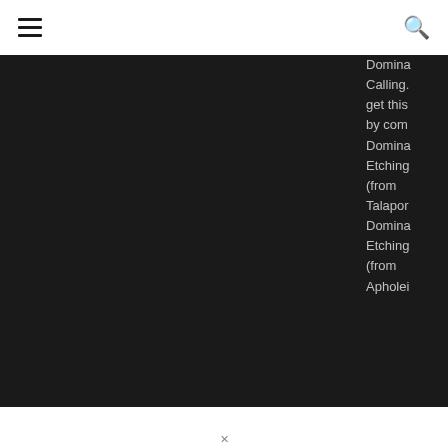≡   🔍
[Figure (photo): Large dark/black image taking up the left and center portion of the page, appears to be a photograph displayed in a dark-themed website layout]
Domina
Calling.
get this
by com
Domina
Etching
(from
Talapor
Domina
Etching
(from
Apholei